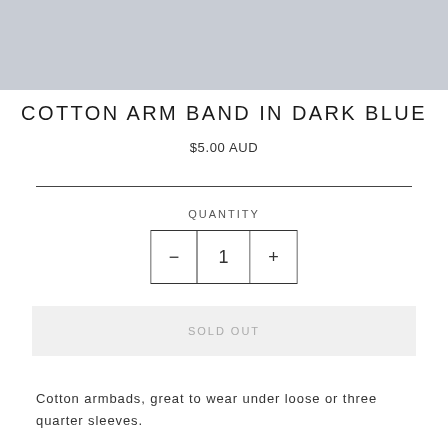[Figure (photo): Light grey textured fabric background image at top of page]
COTTON ARM BAND IN DARK BLUE
$5.00 AUD
QUANTITY
− 1 +
SOLD OUT
Cotton armbads, great to wear under loose or three quarter sleeves.